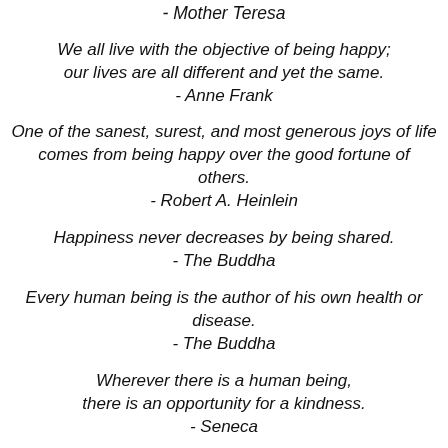- Mother Teresa
We all live with the objective of being happy; our lives are all different and yet the same. - Anne Frank
One of the sanest, surest, and most generous joys of life comes from being happy over the good fortune of others. - Robert A. Heinlein
Happiness never decreases by being shared. - The Buddha
Every human being is the author of his own health or disease. - The Buddha
Wherever there is a human being, there is an opportunity for a kindness. - Seneca
Being happy doesn't mean that everything is perfect. It means that you've decided to look beyond the imperfections. - Anonymous
Nurturing is not complex.